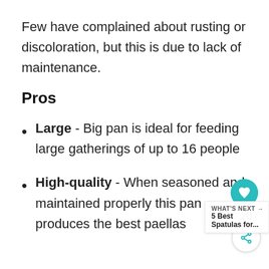Few have complained about rusting or discoloration, but this is due to lack of maintenance.
Pros
Large - Big pan is ideal for feeding large gatherings of up to 16 people
High-quality - When seasoned and maintained properly this pan produces the best paellas